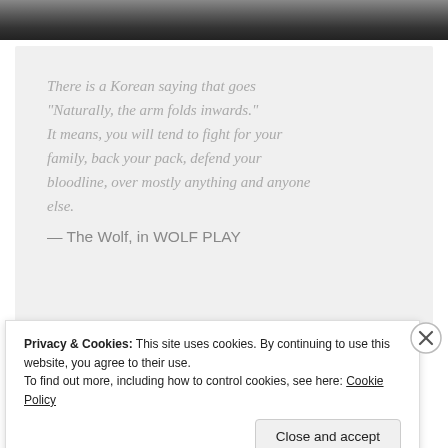[Figure (photo): Dark gradient image strip at the top of the page, transitioning from gray to dark]
There is a Korean saying that goes "Naturally, the arm folds inwards." It means, you will tend to fight for your family, back your pack, defend your bloodline, over mostly anything and anyone else.
— The Wolf, in WOLF PLAY
[Figure (photo): Partial view of a book cover with orange/peach and purple/lavender colors, showing a circular shape and oval shape]
Privacy & Cookies: This site uses cookies. By continuing to use this website, you agree to their use.
To find out more, including how to control cookies, see here: Cookie Policy
Close and accept
[Figure (other): Bottom multicolored bar strip in red, black, and orange]